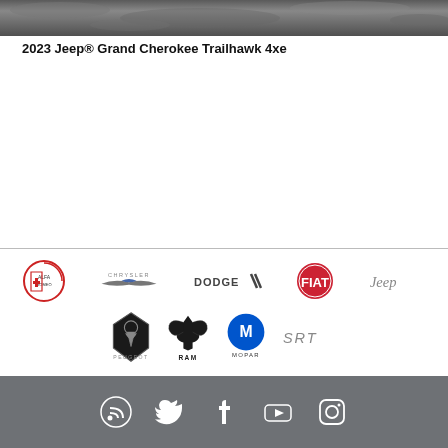[Figure (photo): Rocky terrain background image at top of page]
2023 Jeep® Grand Cherokee Trailhawk 4xe
[Figure (logo): Brand logos: Alfa Romeo, Chrysler, Dodge, Fiat, Jeep, Peugeot, Ram, Mopar, SRT]
Social media icons: RSS, Twitter, Facebook, YouTube, Instagram